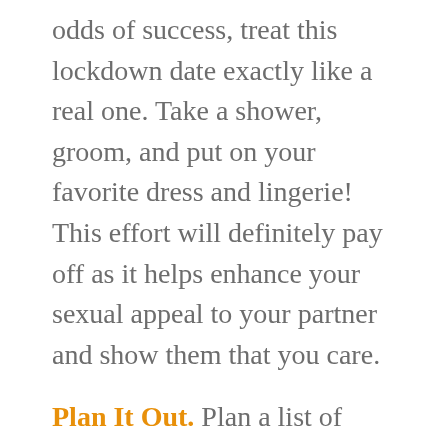odds of success, treat this lockdown date exactly like a real one. Take a shower, groom, and put on your favorite dress and lingerie! This effort will definitely pay off as it helps enhance your sexual appeal to your partner and show them that you care.
Plan It Out. Plan a list of activities you think will make the night great. You might want to cook your signature dish, order your favorite meal, mix some cocktails while watching the sunset, listening to music, watching a romantic movie or trying an erotic game or role-play.
The list goes on, and with a little creative